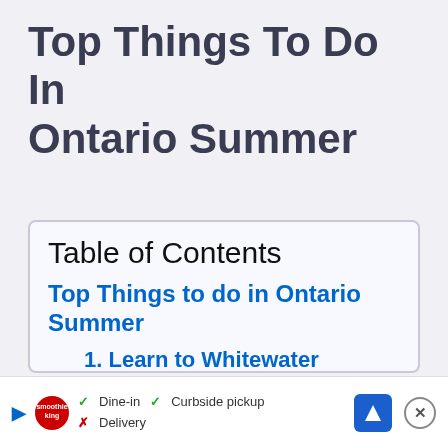Top Things To Do In Ontario Summer
Table of Contents
Top Things to do in Ontario Summer
1. Learn to Whitewater Kayak – Madawaska River
2. Learn to Scuba Dive – Georgian Bay
3. (partially visible, cut off)
✓ Dine-in  ✓ Curbside pickup  ✗ Delivery